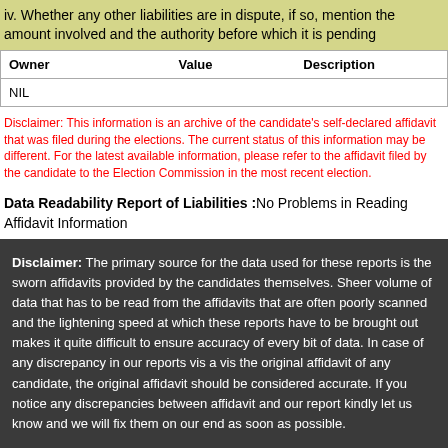iv. Whether any other liabilities are in dispute, if so, mention the amount involved and the authority before which it is pending
| Owner | Value | Description |
| --- | --- | --- |
| NIL |  |  |
Disclaimer: This information is an archive of the candidate's self-declared affidavit that was filed during the elections. The current status of this information may be different. For the latest available information, please refer to the affidavit filed by the candidate to the Election Commission in the most recent election.
Data Readability Report of Liabilities :No Problems in Reading Affidavit Information
Disclaimer: The primary source for the data used for these reports is the sworn affidavits provided by the candidates themselves. Sheer volume of data that has to be read from the affidavits that are often poorly scanned and the lightening speed at which these reports have to be brought out makes it quite difficult to ensure accuracy of every bit of data. In case of any discrepancy in our reports vis a vis the original affidavit of any candidate, the original affidavit should be considered accurate. If you notice any discrepancies between affidavit and our report kindly let us know and we will fix them on our end as soon as possible.